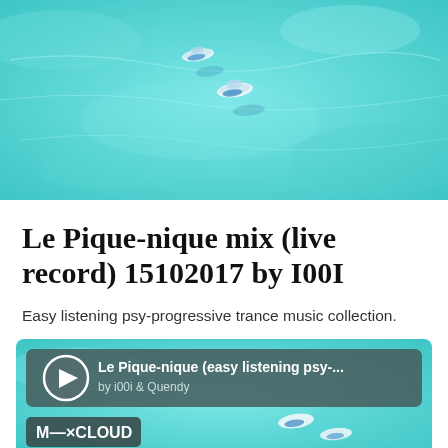[Figure (photo): Aerial view of two small boats on turquoise shallow water]
Le Pique-nique mix (live record) 15102017 by I00I
Easy listening psy-progressive trance music collection.
[Figure (screenshot): Mixcloud embedded player showing 'Le Pique-nique (easy listening psy-...' by i00i & Quendy, with play button and Mixcloud logo, over aerial ocean photo background]